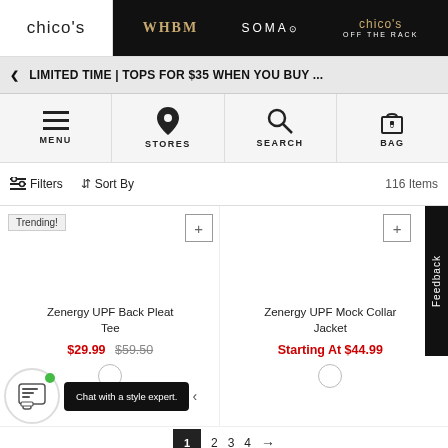chico's | WHBM | SOMA | chico's OFF THE RACK
LIMITED TIME | TOPS FOR $35 WHEN YOU BUY ...
MENU | STORES | SEARCH | BAG
Filters  Sort By  116 Items
Trending!
Zenergy UPF Back Pleat Tee
$29.99  $59.50
Zenergy UPF Mock Collar Jacket
Starting At $44.99
Feedback
Chat with a style expert.
1  2  3  4  →